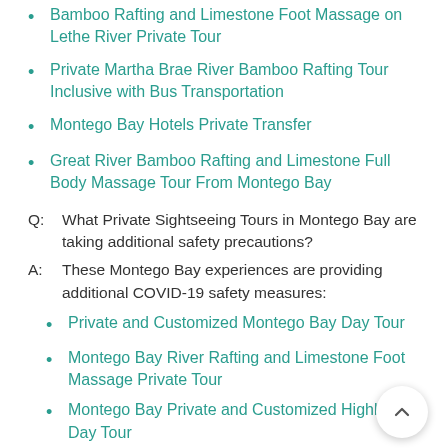Bamboo Rafting and Limestone Foot Massage on Lethe River Private Tour
Private Martha Brae River Bamboo Rafting Tour Inclusive with Bus Transportation
Montego Bay Hotels Private Transfer
Great River Bamboo Rafting and Limestone Full Body Massage Tour From Montego Bay
Q:  What Private Sightseeing Tours in Montego Bay are taking additional safety precautions?
A:  These Montego Bay experiences are providing additional COVID-19 safety measures:
Private and Customized Montego Bay Day Tour
Montego Bay River Rafting and Limestone Foot Massage Private Tour
Montego Bay Private and Customized Highlights Day Tour